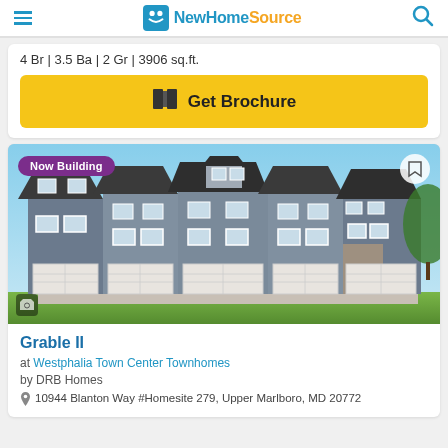NewHomeSource
4 Br | 3.5 Ba | 2 Gr | 3906 sq.ft.
Get Brochure
[Figure (photo): Exterior rendering of townhome row — Grable II at Westphalia Town Center Townhomes. Multi-unit gray townhomes with dark roofs and white garage doors. Badge reads 'Now Building'.]
Grable II
at Westphalia Town Center Townhomes
by DRB Homes
10944 Blanton Way #Homesite 279, Upper Marlboro, MD 20772